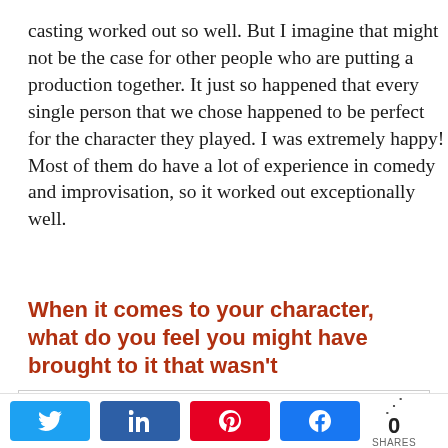casting worked out so well. But I imagine that might not be the case for other people who are putting a production together. It just so happened that every single person that we chose happened to be perfect for the character they played. I was extremely happy! Most of them do have a lot of experience in comedy and improvisation, so it worked out exceptionally well.
When it comes to your character, what do you feel you might have brought to it that wasn't
Privacy & Cookies: This site uses cookies. By continuing to use this website, you agree to their use. To find out more, including how to control cookies, see here: Cookie Policy